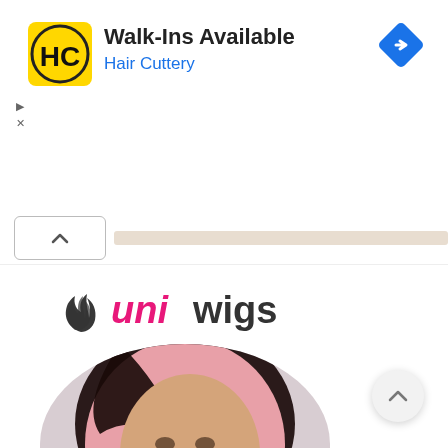[Figure (logo): Hair Cuttery advertisement banner with HC logo, text 'Walk-Ins Available' and 'Hair Cuttery', navigation arrow diamond icon, and ad controls]
[Figure (logo): Uniwigs brand logo with flame/hair SVG mark and text 'uni' in pink and 'wigs' in black]
[Figure (photo): Woman with black roots and pink ombre bob hairstyle, wearing white top, posed for selfie-style photo]